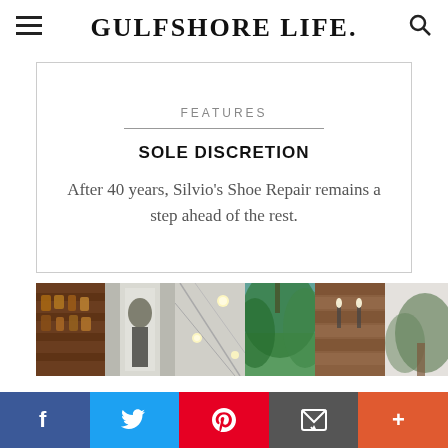GULFSHORE LIFE
FEATURES
SOLE DISCRETION
After 40 years, Silvio’s Shoe Repair remains a step ahead of the rest.
[Figure (photo): Strip of six thumbnail photos showing various scenes: a bar shelf, a figure with fabric/tapestry, ceiling lights, tree canopy, wooden wall with sconces, and a plant/palm.]
f  Twitter  Pinterest  Email  +